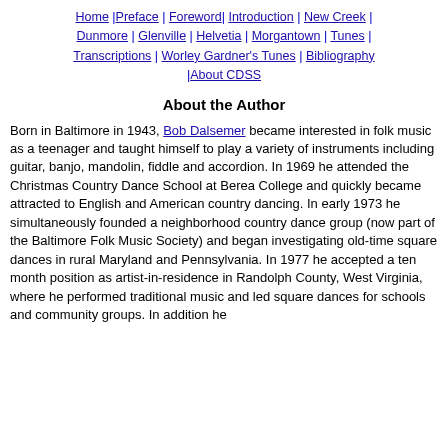Home | Preface | Foreword | Introduction | New Creek | Dunmore | Glenville | Helvetia | Morgantown | Tunes | Transcriptions | Worley Gardner's Tunes | Bibliography | About CDSS
About the Author
Born in Baltimore in 1943, Bob Dalsemer became interested in folk music as a teenager and taught himself to play a variety of instruments including guitar, banjo, mandolin, fiddle and accordion. In 1969 he attended the Christmas Country Dance School at Berea College and quickly became attracted to English and American country dancing. In early 1973 he simultaneously founded a neighborhood country dance group (now part of the Baltimore Folk Music Society) and began investigating old-time square dances in rural Maryland and Pennsylvania. In 1977 he accepted a ten month position as artist-in-residence in Randolph County, West Virginia, where he performed traditional music and led square dances for schools and community groups. In addition he